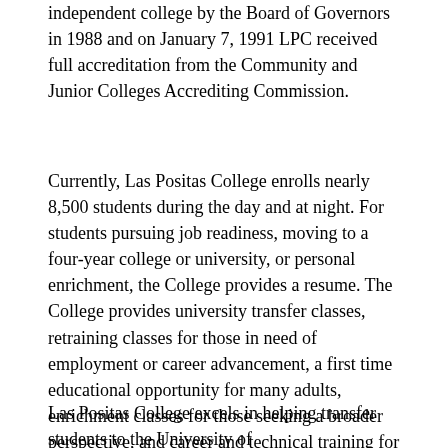independent college by the Board of Governors in 1988 and on January 7, 1991 LPC received full accreditation from the Community and Junior Colleges Accrediting Commission.
Currently, Las Positas College enrolls nearly 8,500 students during the day and at night. For students pursuing job readiness, moving to a four-year college or university, or personal enrichment, the College provides a resume. The College provides university transfer classes, retraining classes for those in need of employment or career advancement, a first time educational opportunity for many adults, enrichment classes for those seeking a broader perspective, and career and technical training for those entering the technical and paraprofessional workforce.
Las Positas College excels in helping transfer students to the University of